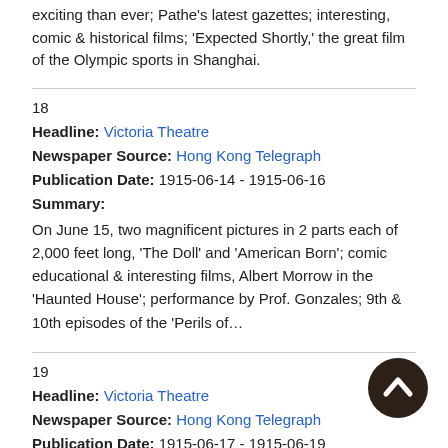exciting than ever; Pathe's latest gazettes; interesting, comic & historical films; 'Expected Shortly,' the great film of the Olympic sports in Shanghai.
18
Headline: Victoria Theatre
Newspaper Source: Hong Kong Telegraph
Publication Date: 1915-06-14 - 1915-06-16
Summary:
On June 15, two magnificent pictures in 2 parts each of 2,000 feet long, 'The Doll' and 'American Born'; comic educational & interesting films, Albert Morrow in the 'Haunted House'; performance by Prof. Gonzales; 9th & 10th episodes of the 'Perils of…
19
Headline: Victoria Theatre
Newspaper Source: Hong Kong Telegraph
Publication Date: 1915-06-17 - 1915-06-19
Summary: